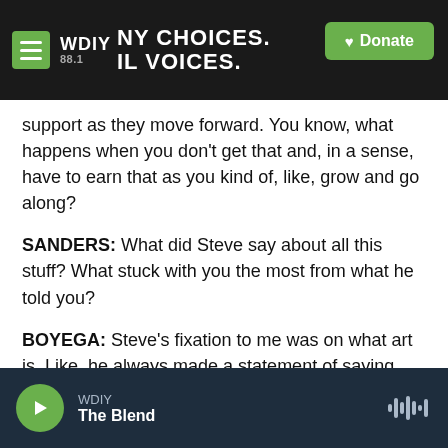[Figure (screenshot): WDIY 88.1 radio station header bar with hamburger menu, logo, tagline 'NY CHOICES. IL VOICES.' and green Donate button]
support as they move forward. You know, what happens when you don't get that and, in a sense, have to earn that as you kind of, like, grow and go along?
SANDERS: What did Steve say about all this stuff? What stuck with you the most from what he told you?
BOYEGA: Steve's fixation to me was on what art is. Like, he always made a statement of saying, remember, you're an artist. You're an artist. You're an artist. And that always spoke to me because he
WDIY  The Blend